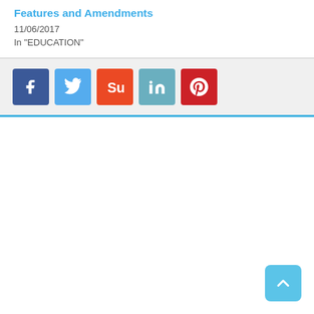Features and Amendments
11/06/2017
In "EDUCATION"
[Figure (other): Social sharing buttons: Facebook (blue), Twitter (light blue), StumbleUpon (orange-red), LinkedIn (teal), Pinterest (red)]
[Figure (other): Back to top button (light blue, chevron/arrow up icon) in bottom right corner]